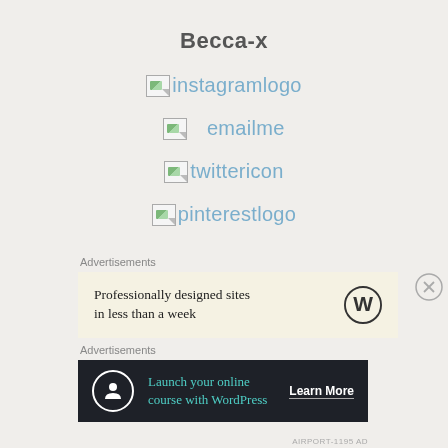Becca-x
[Figure (logo): Broken image placeholder labeled 'instagramlogo']
[Figure (logo): Broken image placeholder labeled 'emailme']
[Figure (logo): Broken image placeholder labeled 'twittericon']
[Figure (logo): Broken image placeholder labeled 'pinterestlogo']
Advertisements
[Figure (screenshot): WordPress advertisement: 'Professionally designed sites in less than a week' with WordPress logo]
Advertisements
[Figure (screenshot): Dark advertisement: 'Launch your online course with WordPress' with Learn More button]